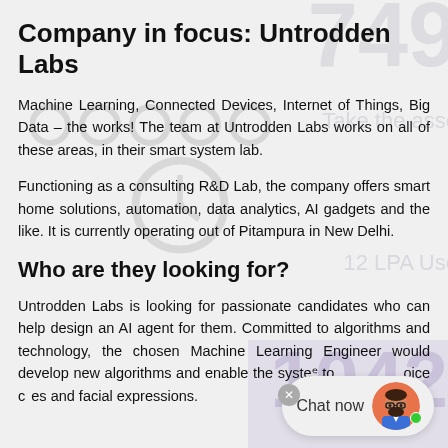Company in focus: Untrodden Labs
Machine Learning, Connected Devices, Internet of Things, Big Data – the works! The team at Untrodden Labs works on all of these areas, in their smart system lab.
Functioning as a consulting R&D Lab, the company offers smart home solutions, automation, data analytics, AI gadgets and the like. It is currently operating out of Pitampura in New Delhi.
Who are they looking for?
Untrodden Labs is looking for passionate candidates who can help design an AI agent for them. Committed to algorithms and technology, the chosen Machine Learning Engineer would develop new algorithms and enable the system to recognize voice cues and facial expressions.